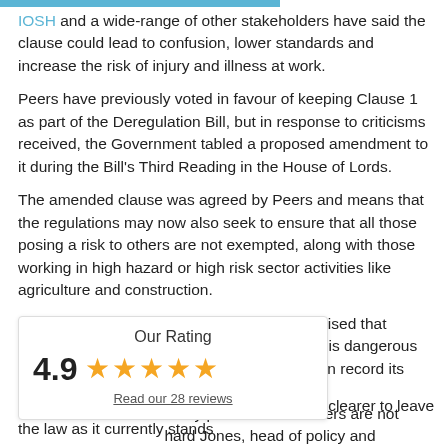IOSH and a wide-range of other stakeholders have said the clause could lead to confusion, lower standards and increase the risk of injury and illness at work.
Peers have previously voted in favour of keeping Clause 1 as part of the Deregulation Bill, but in response to criticisms received, the Government tabled a proposed amendment to it during the Bill's Third Reading in the House of Lords.
The amended clause was agreed by Peers and means that the regulations may now also seek to ensure that all those posing a risk to others are not exempted, along with those working in high hazard or high risk sector activities like agriculture and construction.
“We are relieved the Government has recognised that relying solely on its ‘prescribed list’ approach is dangerous and unworkable and has now put on record its intention to ensure that all those who may pose a risk to others are not exempted,” said Richard Jones, head of policy and
[Figure (infographic): Our Rating widget showing 4.9 out of 5 stars with 5 gold stars and a link reading 'Read our 28 reviews']
gly of the view that it would be far easier and clearer to leave the law as it currently stands